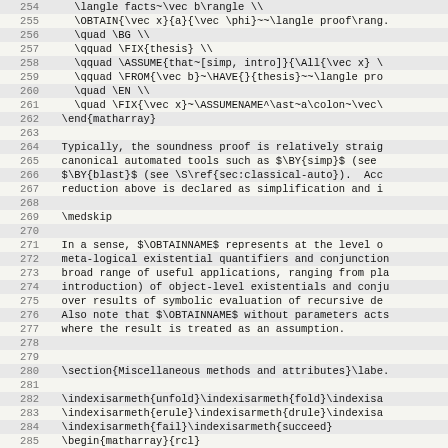Code listing lines 254-285 showing LaTeX/Isabelle proof code
254   \langle facts~\vec b\rangle \\
255   \OBTAIN{\vec x}{a}{\vec \phi}~~\langle proof\rang...
256   \quad \BG \\
257   \qquad \FIX{thesis} \\
258   \qquad \ASSUME{that~[simp, intro]}{\All{\vec x} \...
259   \qquad \FROM{\vec b}~\HAVE{}{thesis}~~\langle pro...
260   \quad \EN \\
261   \quad \FIX{\vec x}~\ASSUMENAME^\ast~a\colon~\vec\...
262 \end{matharray}
263
264 Typically, the soundness proof is relatively straigh...
265 canonical automated tools such as $\BY{simp}$ (see ...
266 $\BY{blast}$ (see \S\ref{sec:classical-auto}).  Acco...
267 reduction above is declared as simplification and i...
268
269 \medskip
270
271 In a sense, $\OBTAINNAME$ represents at the level o...
272 meta-logical existential quantifiers and conjunction...
273 broad range of useful applications, ranging from pla...
274 introduction) of object-level existentials and conju...
275 over results of symbolic evaluation of recursive de...
276 Also note that $\OBTAINNAME$ without parameters acts...
277 where the result is treated as an assumption.
278
279
280 \section{Miscellaneous methods and attributes}\labe...
281
282 \indexisarmeth{unfold}\indexisarmeth{fold}\indexisa...
283 \indexisarmeth{erule}\indexisarmeth{drule}\indexisa...
284 \indexisarmeth{fail}\indexisarmeth{succeed}
285 \begin{matharray}{rcl}